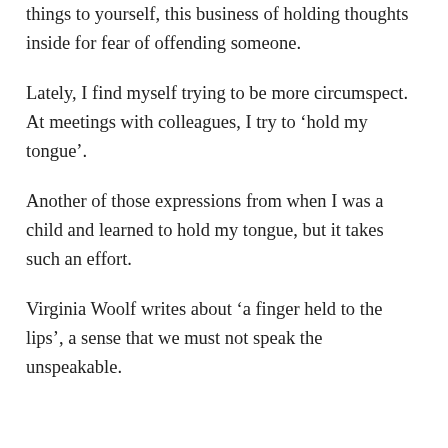things to yourself, this business of holding thoughts inside for fear of offending someone.
Lately, I find myself trying to be more circumspect. At meetings with colleagues, I try to ‘hold my tongue’.
Another of those expressions from when I was a child and learned to hold my tongue, but it takes such an effort.
Virginia Woolf writes about ‘a finger held to the lips’, a sense that we must not speak the unspeakable.